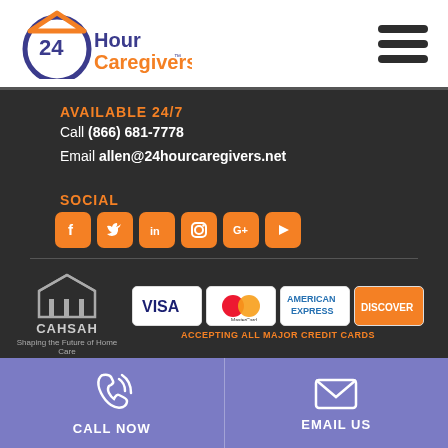[Figure (logo): 24 Hour Caregivers logo with orange house/circle icon and text]
[Figure (illustration): Hamburger menu icon (three horizontal bars)]
AVAILABLE 24/7
Call (866) 681-7778
Email allen@24hourcaregivers.net
SOCIAL
[Figure (illustration): Social media icons: Facebook, Twitter, LinkedIn, Instagram, Google+, YouTube]
[Figure (logo): CAHSAH - Shaping the Future of Home Care logo]
[Figure (illustration): Credit card badges: VISA, MasterCard, American Express, Discover]
ACCEPTING ALL MAJOR CREDIT CARDS
CALL NOW
EMAIL US